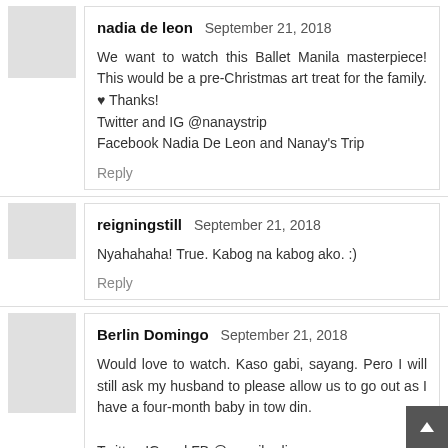nadia de leon  September 21, 2018
We want to watch this Ballet Manila masterpiece! This would be a pre-Christmas art treat for the family. ♥ Thanks!
Twitter and IG @nanaystrip
Facebook Nadia De Leon and Nanay's Trip
Reply
reigningstill  September 21, 2018
Nyahahaha! True. Kabog na kabog ako. :)
Reply
Berlin Domingo  September 21, 2018
Would love to watch. Kaso gabi, sayang. Pero I will still ask my husband to please allow us to go out as I have a four-month baby in tow din.
Twitter, IG and FB @momiberlin
Reply